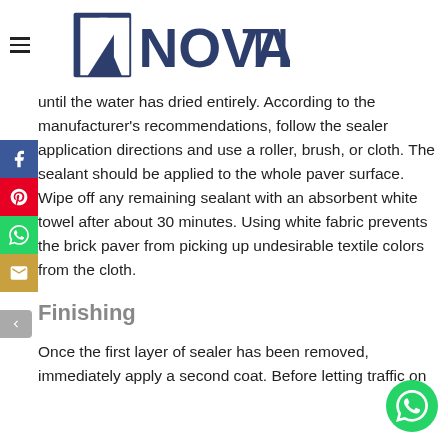NOVATILE
until the water has dried entirely. According to the manufacturer's recommendations, follow the sealer application directions and use a roller, brush, or cloth. The sealant should be applied to the whole paver surface. Wipe off any remaining sealant with an absorbent white towel after about 30 minutes. Using white fabric prevents the brick paver from picking up undesirable textile colors from the cloth.
Finishing
Once the first layer of sealer has been removed, immediately apply a second coat. Before letting traffic on